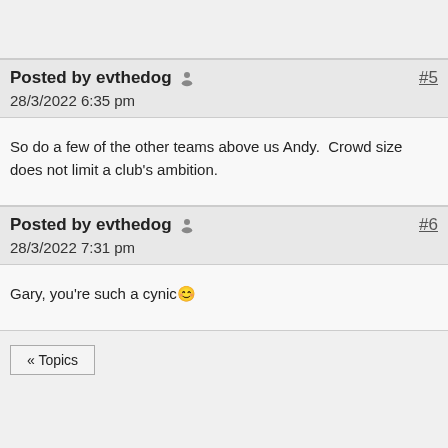Posted by evthedog  #5
28/3/2022 6:35 pm
So do a few of the other teams above us Andy.  Crowd size does not limit a club's ambition.
Posted by evthedog  #6
28/3/2022 7:31 pm
Gary, you're such a cynic😊
« Topics